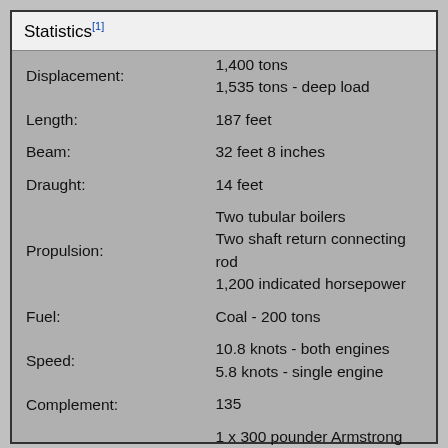| Statistics[1] |  |
| --- | --- |
| Displacement: | 1,400 tons
1,535 tons - deep load |
| Length: | 187 feet |
| Beam: | 32 feet 8 inches |
| Draught: | 14 feet |
| Propulsion: | Two tubular boilers
Two shaft return connecting rod
1,200 indicated horsepower |
| Fuel: | Coal - 200 tons |
| Speed: | 10.8 knots - both engines
5.8 knots - single engine |
| Complement: | 135 |
|  | 1 x 300 pounder Armstrong |